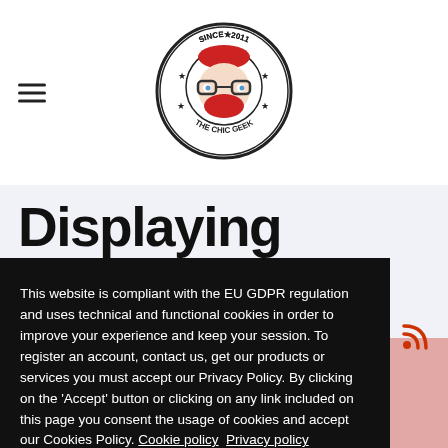The Chic Geek - navigation header with hamburger menu and logo
Displaying items by
This website is compliant with the EU GDPR regulation and uses technical and functional cookies in order to improve your experience and keep your session. To register an account, contact us, get our products or services you must accept our Privacy Policy. By clicking on the 'Accept' button or clicking on any link included on this page you consent the usage of cookies and accept our Cookies Policy. Cookie policy  Privacy policy
Decline | Accept | Got it!